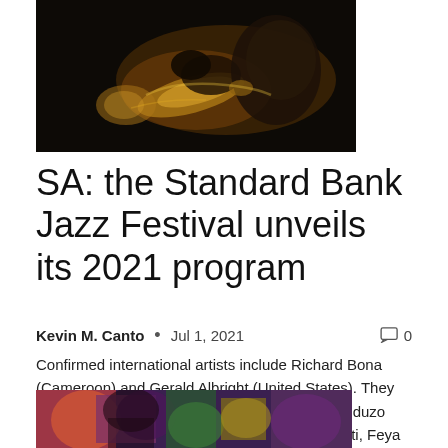[Figure (photo): A musician playing a trumpet on a dark stage, close-up shot with warm golden tones on the instrument]
SA: the Standard Bank Jazz Festival unveils its 2021 program
Kevin M. Canto  •  Jul 1, 2021  🗨 0
Confirmed international artists include Richard Bona (Cameroon) and Gerald Albright (United States). They will be joined by local artists Marcus Wyatt, Nduduzo Makhathini, Lira, Judith Sephuma, Sisonke Xonti, Feya Faku, Bokani Dyer, Dumza...
[Figure (photo): Colorful artwork or photograph with vibrant greens, pinks, and purples, partially visible at the bottom of the page]